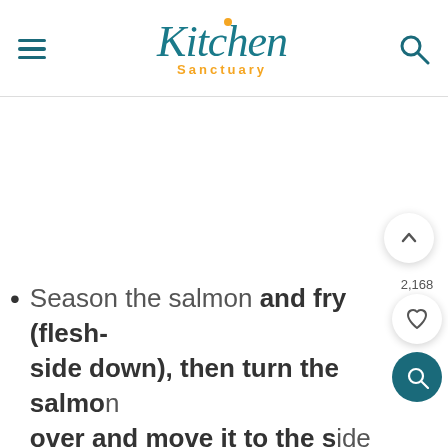Kitchen Sanctuary
Season the salmon and fry (flesh-side down), then turn the salmon over and move it to the side of the pan. Add onions and garlic and fry, then add in passata, tomato